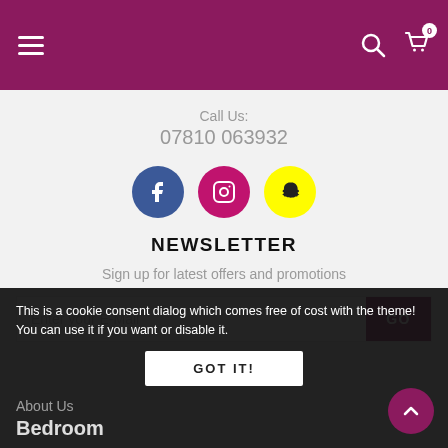Navigation header with hamburger menu, search icon, and cart icon (0 items)
Call Us:
07810 063932
[Figure (illustration): Three social media icons: Facebook (dark blue circle), Instagram (pink circle), Snapchat (yellow circle)]
NEWSLETTER
Sign up for latest offers and promotions
Enter your E-Mail  [GO button]
This is a cookie consent dialog which comes free of cost with the theme! You can use it if you want or disable it.
GOT IT!
About Us
Bedroom